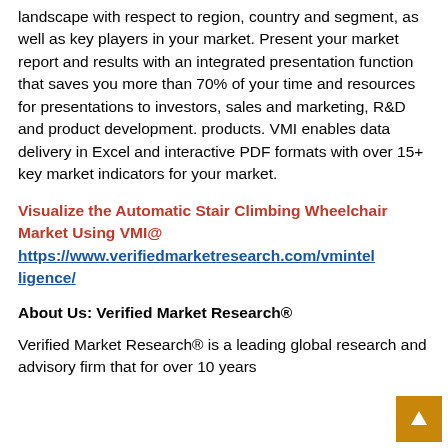landscape with respect to region, country and segment, as well as key players in your market. Present your market report and results with an integrated presentation function that saves you more than 70% of your time and resources for presentations to investors, sales and marketing, R&D and product development. products. VMI enables data delivery in Excel and interactive PDF formats with over 15+ key market indicators for your market.
Visualize the Automatic Stair Climbing Wheelchair Market Using VMI@ https://www.verifiedmarketresearch.com/vmintelligence/
About Us: Verified Market Research®
Verified Market Research® is a leading global research and advisory firm that for over 10 years